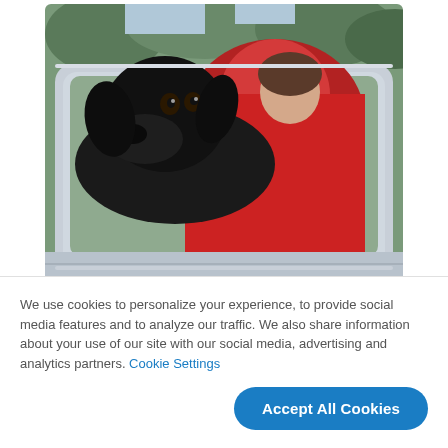[Figure (photo): A black Labrador dog looking out of the rear sliding window of a truck cab, with a person in a red sweater visible behind the dog. The truck appears to be a vintage vehicle with a silver/gray metal body.]
Driving  around the neighborhood in my 1939 Dodge truck with my best buddy on
We use cookies to personalize your experience, to provide social media features and to analyze our traffic. We also share information about your use of our site with our social media, advertising and analytics partners. Cookie Settings